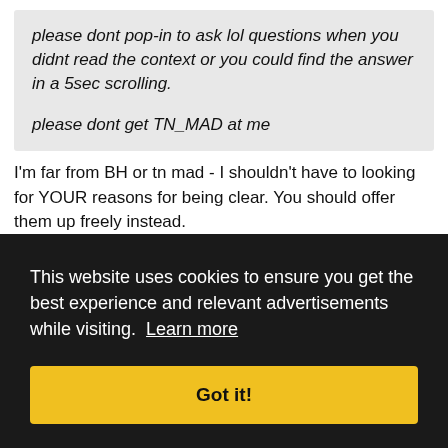please dont pop-in to ask lol questions when you didnt read the context or you could find the answer in a 5sec scrolling.

please dont get TN_MAD at me
I'm far from BH or tn mad - I shouldn't have to looking for YOUR reasons for being clear. You should offer them up freely instead.

But I think what you did is more stupid than clearing.
ote
#5133
Bryant Reeves is a as tock a villager as you can be and peeked because of his www road on euros mg of Okso yesterday
This website uses cookies to ensure you get the best experience and relevant advertisements while visiting. Learn more

Got it!